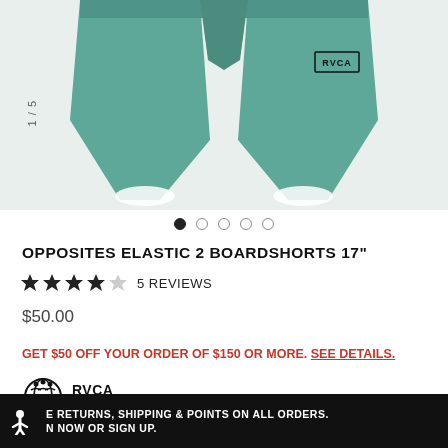[Figure (photo): Teal/green RVCA boardshorts product photo showing the shorts from a front view, with an RVCA logo on the upper right leg. White liner visible at leg openings. Image counter '1 / 5' shown vertically on left side.]
1 / 5
● ○ ○ ○ ○
OPPOSITES ELASTIC 2 BOARDSHORTS 17"
★★★★☆  5 REVIEWS
$50.00
GET $50 OFF YOUR ORDER OF $150 OR MORE. SEE DETAILS.
RVCA INSIDER
E RETURNS, SHIPPING & POINTS ON ALL ORDERS.
N NOW OR SIGN UP.